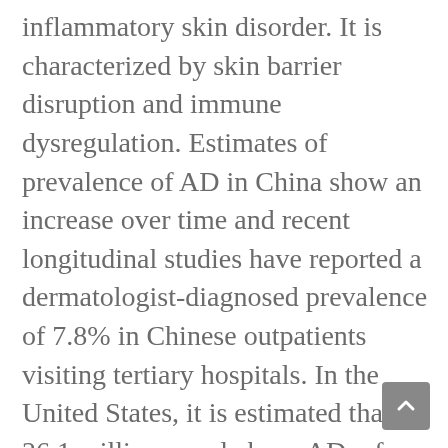inflammatory skin disorder. It is characterized by skin barrier disruption and immune dysregulation. Estimates of prevalence of AD in China show an increase over time and recent longitudinal studies have reported a dermatologist-diagnosed prevalence of 7.8% in Chinese outpatients visiting tertiary hospitals. In the United States, it is estimated that 26.1 million people have AD, of which 6.6 million have moderate-to-severe disease. Further, over 58% of adults with moderate-to-severe AD have disease that physicians consider to be inadequately controlled by approved therapeutic modalities, including topical anti-inflammatory agents and systemic agents.